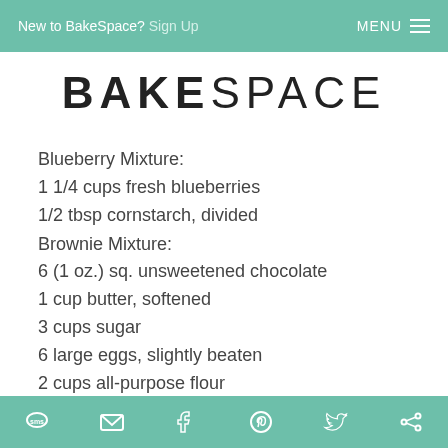New to BakeSpace? Sign Up   MENU ≡
BAKESPACE
Blueberry Mixture:
1 1/4 cups fresh blueberries
1/2 tbsp cornstarch, divided
Brownie Mixture:
6 (1 oz.) sq. unsweetened chocolate
1 cup butter, softened
3 cups sugar
6 large eggs, slightly beaten
2 cups all-purpose flour
1 tsp. baking powder
1 tsp. salt
2 tsp. real vanilla
sms  mail  facebook  pinterest  twitter  other